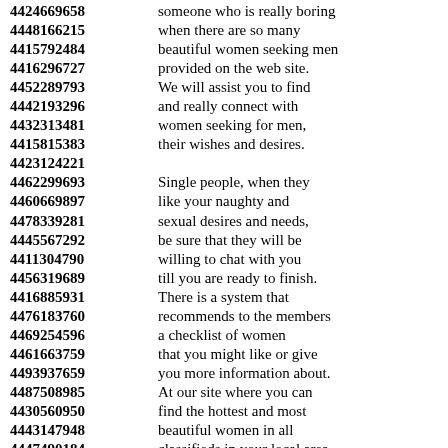4424669658 someone who is really boring
4448166215 when there are so many
4415792484 beautiful women seeking men
4416296727 provided on the web site.
4452289793 We will assist you to find
4442193296 and really connect with
4432313481 women seeking for men,
4415815383 their wishes and desires.
4423124221
4462299693 Single people, when they
4460669897 like your naughty and
4478339281 sexual desires and needs,
4445567292 be sure that they will be
4411304790 willing to chat with you
4456319689 till you are ready to finish.
4416885931 There is a system that
4476183760 recommends to the members
4469254596 a checklist of women
4461663759 that you might like or give
4493937659 you more information about.
4487508985 At our site where you can
4430560950 find the hottest and most
4443147948 beautiful women in all
4447490184 classifieds in your local area.
4417808336 It's simple and easy way